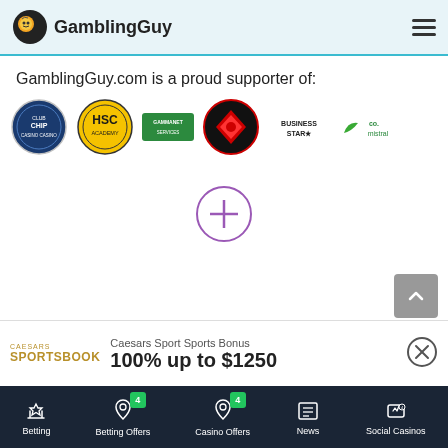GamblingGuy
GamblingGuy.com is a proud supporter of:
[Figure (logo): Row of six partner/supporter logos including a blue circular badge, HSC yellow circle logo, Gammanet green logo, red diamond logo, Business Star logo, and Co-Mistral green tree logo]
[Figure (other): Purple circle with plus sign inside — expand/load more button]
Caesars Sport Sports Bonus
100% up to $1250
Betting | Betting Offers 4 | Casino Offers 4 | News | Social Casinos